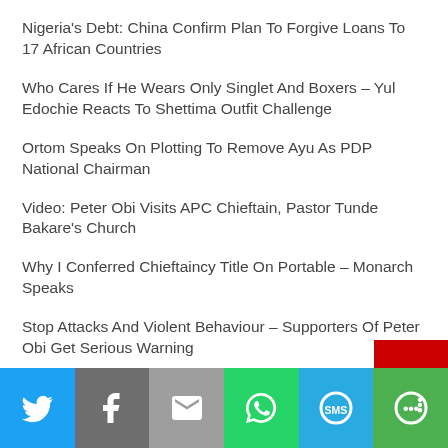Nigeria's Debt: China Confirm Plan To Forgive Loans To 17 African Countries
Who Cares If He Wears Only Singlet And Boxers – Yul Edochie Reacts To Shettima Outfit Challenge
Ortom Speaks On Plotting To Remove Ayu As PDP National Chairman
Video: Peter Obi Visits APC Chieftain, Pastor Tunde Bakare's Church
Why I Conferred Chieftaincy Title On Portable – Monarch Speaks
Stop Attacks And Violent Behaviour – Supporters Of Peter Obi Get Serious Warning
Just In: Wike Meets Tinubu In France, May Support APC Candidate
[Figure (infographic): Social share bar with icons for Twitter, Facebook, Email, WhatsApp, SMS, and More]